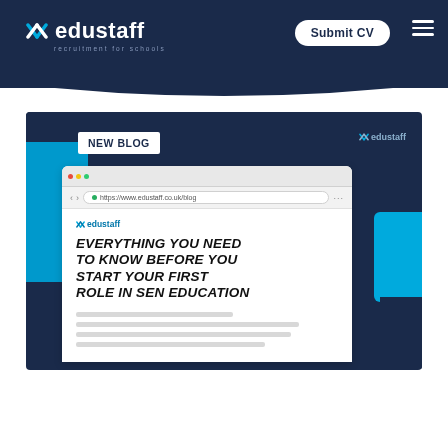edustaff recruitment for schools | Submit CV
[Figure (screenshot): Edustaff website blog post screenshot showing 'NEW BLOG' badge and article titled 'EVERYTHING YOU NEED TO KNOW BEFORE YOU START YOUR FIRST ROLE IN SEN EDUCATION' displayed in a browser mockup on a dark navy background with blue decorative shapes.]